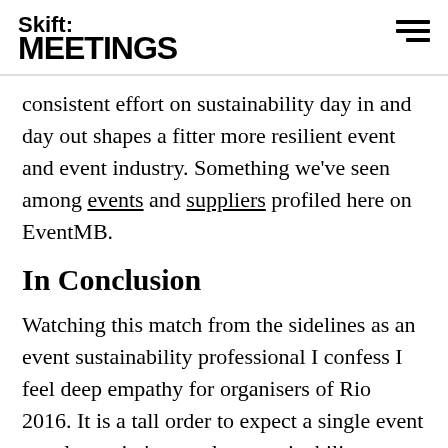Skift MEETINGS
consistent effort on sustainability day in and day out shapes a fitter more resilient event and event industry. Something we've seen among events and suppliers profiled here on EventMB.
In Conclusion
Watching this match from the sidelines as an event sustainability professional I confess I feel deep empathy for organisers of Rio 2016. It is a tall order to expect a single event to solve a city's complex sustainability woes. And some successes have moved the needle of sustainability progress in Rio.